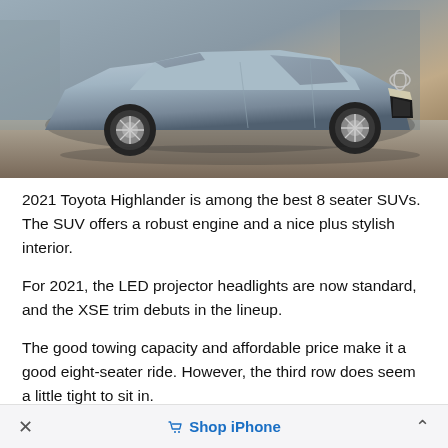[Figure (photo): 2021 Toyota Highlander SUV in a light blue/silver color, photographed from the front-left angle on an urban street setting. The vehicle shows the front grille, headlights, and left side profile.]
2021 Toyota Highlander is among the best 8 seater SUVs. The SUV offers a robust engine and a nice plus stylish interior.
For 2021, the LED projector headlights are now standard, and the XSE trim debuts in the lineup.
The good towing capacity and affordable price make it a good eight-seater ride. However, the third row does seem a little tight to sit in.
× Shop iPhone ^